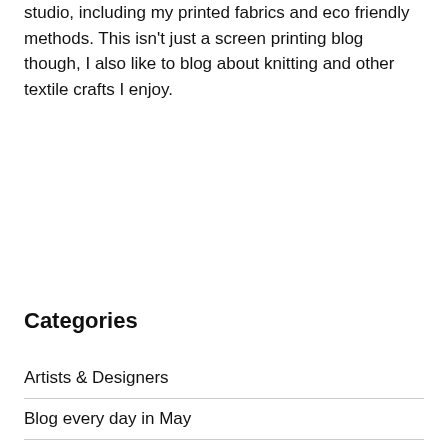studio, including my printed fabrics and eco friendly methods. This isn't just a screen printing blog though, I also like to blog about knitting and other textile crafts I enjoy.
Categories
Artists & Designers
Blog every day in May
Book Reviews